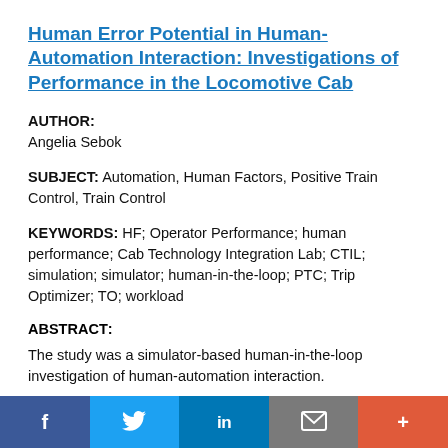Human Error Potential in Human-Automation Interaction: Investigations of Performance in the Locomotive Cab
AUTHOR: Angelia Sebok
SUBJECT: Automation, Human Factors, Positive Train Control, Train Control
KEYWORDS: HF; Operator Performance; human performance; Cab Technology Integration Lab; CTIL; simulation; simulator; human-in-the-loop; PTC; Trip Optimizer; TO; workload
ABSTRACT:
The study was a simulator-based human-in-the-loop investigation of human-automation interaction.
f  [twitter bird]  in  [mail]  +